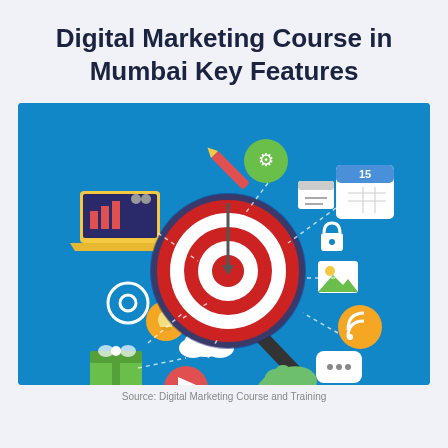Digital Marketing Course in Mumbai Key Features
[Figure (illustration): Digital marketing illustration showing a hand holding a magnifying glass over a target/bullseye, surrounded by various digital marketing icons including laptop with chart, calendar, gift box, video play button, RSS feed, chat bubble, settings gear, cloud, and other digital icons on a blue background.]
Source: Digital Marketing Course and Training